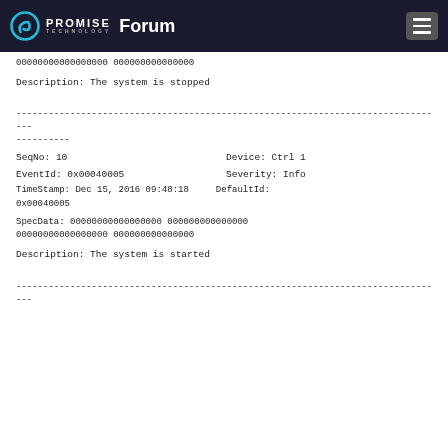PROMISE TECHNOLOGY Forum
00000000000000000 000000000000000
Description: The system is stopped
--------------------------------------------------------------------------------
SeqNo: 10                    Device: Ctrl 1
EventId: 0x00040005              Severity: Info
TimeStamp: Dec 15, 2016 09:48:18      DefaultId: 0x00040005
SpecData: 00000000000000000 000000000000000 00000000000000000 000000000000000
Description: The system is started
--------------------------------------------------------------------------------